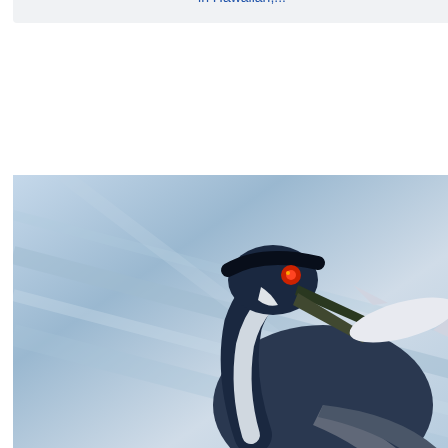[Figure (photo): Black-crowned night heron with fish in beak, blue-grey water background]
RW061PhotoResourceHaw...jpg
Black-crowned night heron (`auku`u in Hawaiian;...
[Figure (photo): Bird with wings spread, dark plumage, natural outdoor background]